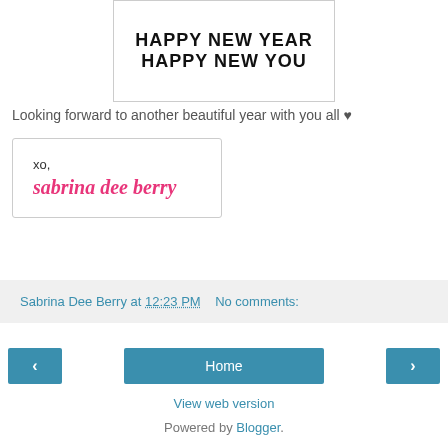[Figure (illustration): White card with bold black text reading HAPPY NEW YEAR on first line and HAPPY NEW YOU on second line]
Looking forward to another beautiful year with you all ♥
[Figure (illustration): White card with XO, text and pink cursive signature reading sabrina dee berry]
Sabrina Dee Berry at 12:23 PM    No comments:
Home
View web version
Powered by Blogger.